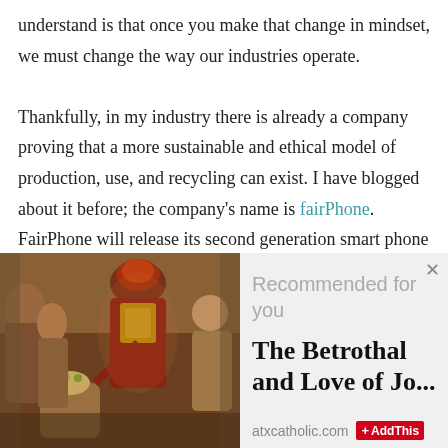understand is that once you make that change in mindset, we must change the way our industries operate.

Thankfully, in my industry there is already a company proving that a more sustainable and ethical model of production, use, and recycling can exist. I have blogged about it before; the company's name is fairPhone. FairPhone will release its second generation smart phone soon. The bad news is that its phone will not be sold in the United States. The good news is that fairPhone has made substantial improvements to all the sustainability issues I have
[Figure (photo): A classical painting depicting a betrothal or wedding scene with multiple figures in historical dress. A central figure in ornate red and gold robes stands over a kneeling woman. Other figures surround them.]
Recommended for you
The Betrothal and Love of Jo...
atxcatholic.com  AddThis